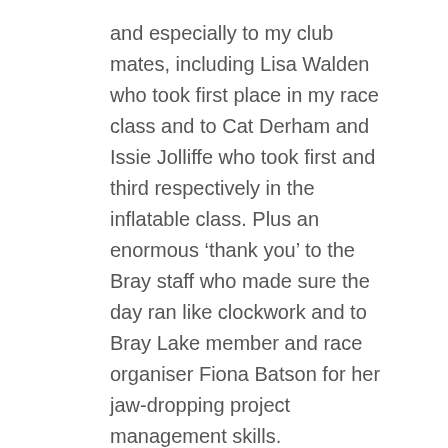and especially to my club mates, including Lisa Walden who took first place in my race class and to Cat Derham and Issie Jolliffe who took first and third respectively in the inflatable class. Plus an enormous ‘thank you’ to the Bray staff who made sure the day ran like clockwork and to Bray Lake member and race organiser Fiona Batson for her jaw-dropping project management skills.
I came away with only one regret: there are no photos of me in action on my beautiful Starboard! Or indeed of me on the podium. Or indeed anywhere at all. Or video. Memo to self: be better organised next year and make sure to get someone to wield a phone in my general direction at some point during the day — and